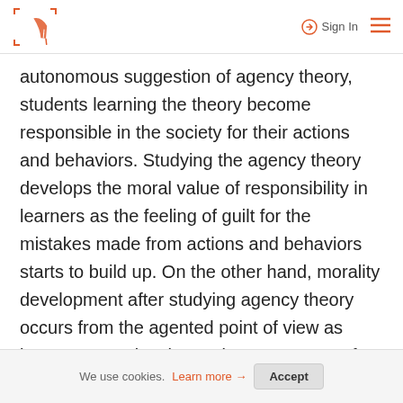Sign In [menu]
autonomous suggestion of agency theory, students learning the theory become responsible in the society for their actions and behaviors. Studying the agency theory develops the moral value of responsibility in learners as the feeling of guilt for the mistakes made from actions and behaviors starts to build up. On the other hand, morality development after studying agency theory occurs from the agented point of view as learners perceive themselves as agents of other people's will. The realization of operating as agents of other people leads to the development of the
We use cookies. Learn more → Accept